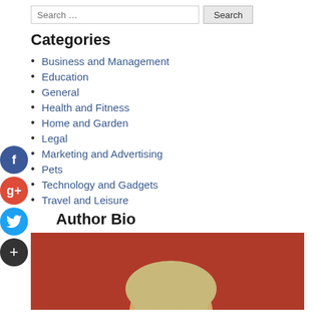Search …
Categories
Business and Management
Education
General
Health and Fitness
Home and Garden
Legal
Marketing and Advertising
Pets
Technology and Gadgets
Travel and Leisure
Author Bio
[Figure (photo): Author photo — person with blonde hair against a red/burgundy background]